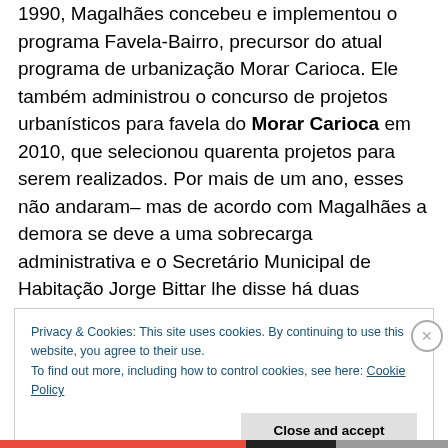1990, Magalhães concebeu e implementou o programa Favela-Bairro, precursor do atual programa de urbanização Morar Carioca. Ele também administrou o concurso de projetos urbanísticos para favela do Morar Carioca em 2010, que selecionou quarenta projetos para serem realizados. Por mais de um ano, esses não andaram– mas de acordo com Magalhães a demora se deve a uma sobrecarga administrativa e o Secretário Municipal de Habitação Jorge Bittar lhe disse há duas semanas que logo haverá um sinal verde.
Privacy & Cookies: This site uses cookies. By continuing to use this website, you agree to their use. To find out more, including how to control cookies, see here: Cookie Policy